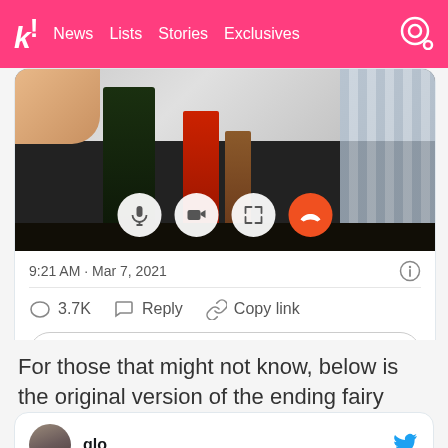k! News Lists Stories Exclusives
[Figure (screenshot): Screenshot of a video call showing bottles on a table with call control buttons (microphone, camera, expand, end call). Timestamp shows 9:21 AM · Mar 7, 2021 with 3.7K likes, Reply, and Copy link actions. An 'Explore what's happening on Twitter' button is shown.]
For those that might not know, below is the original version of the ending fairy done by Key!
[Figure (screenshot): Beginning of a tweet card showing user avatar and username 'glo' with Twitter bird icon]